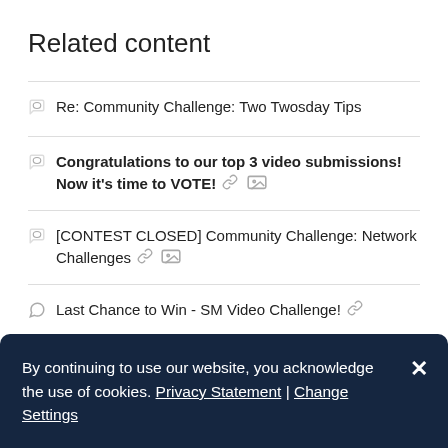Related content
Re: Community Challenge: Two Twosday Tips
Congratulations to our top 3 video submissions! Now it's time to VOTE! 🔗 🖼
[CONTEST CLOSED] Community Challenge: Network Challenges 🔗 🖼
Last Chance to Win - SM Video Challenge! 🔗
[TIP] Block Traffic Inter-Vlan MX Meraki
By continuing to use our website, you acknowledge the use of cookies. Privacy Statement | Change Settings